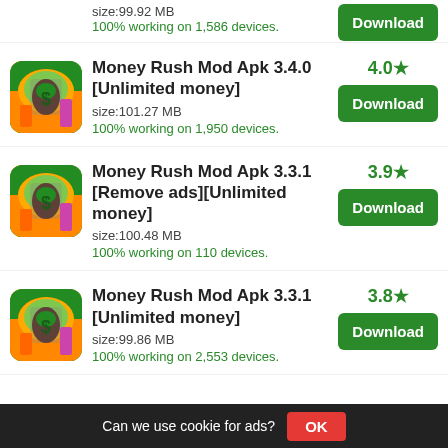size:99.92 MB
100% working on 1,586 devices.
Money Rush Mod Apk 3.4.0 [Unlimited money]
size:101.27 MB
100% working on 1,950 devices.
Money Rush Mod Apk 3.3.1 [Remove ads][Unlimited money]
size:100.48 MB
100% working on 110 devices.
Money Rush Mod Apk 3.3.1 [Unlimited money]
size:99.86 MB
100% working on 2,553 devices.
Can we use cookie for ads?